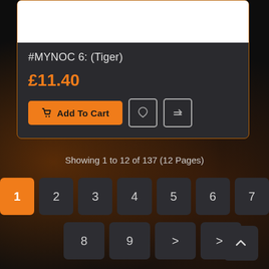[Figure (screenshot): Product card showing a blurred product image at top]
#MYNOC 6: (Tiger)
£11.40
Add To Cart
Showing 1 to 12 of 137 (12 Pages)
1 2 3 4 5 6 7 8 9 > >|